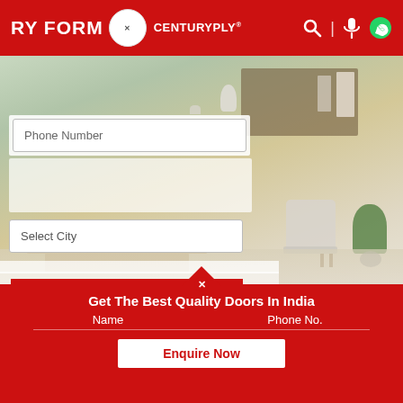RY FORM | CENTURYPLY® | [search] [mic] [whatsapp]
Phone Number
Select City
ENQUIRE NOW
[Figure (photo): Modern living room interior with wooden media console, white armchair, bookshelf, decorative figurines, and indoor plant against a sage green wall]
Our Doors Range
Considered to be the best flush door manufacturers in India, CenturyDoors offers a range of doors...
s Consent To Call You Back
& Conditions
Get The Best Quality Doors In India
Name
Phone No.
Enquire Now